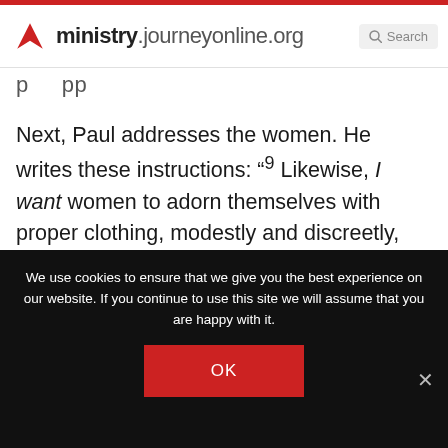ministry.journeyonline.org  Search
p   pp
Next, Paul addresses the women. He writes these instructions: “⁹ Likewise, I want women to adorn themselves with proper clothing, modestly and discreetly, not with braided hair and gold or pearls or costly garments; ¹⁰ but rather by means of good works, as befits
We use cookies to ensure that we give you the best experience on our website. If you continue to use this site we will assume that you are happy with it.
OK